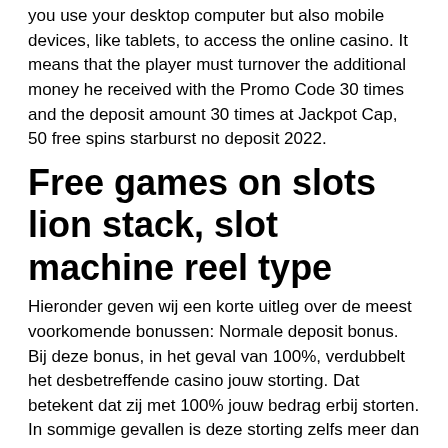you use your desktop computer but also mobile devices, like tablets, to access the online casino. It means that the player must turnover the additional money he received with the Promo Code 30 times and the deposit amount 30 times at Jackpot Cap, 50 free spins starburst no deposit 2022.
Free games on slots lion stack, slot machine reel type
Hieronder geven wij een korte uitleg over de meest voorkomende bonussen: Normale deposit bonus. Bij deze bonus, in het geval van 100%, verdubbelt het desbetreffende casino jouw storting. Dat betekent dat zij met 100% jouw bedrag erbij storten. In sommige gevallen is deze storting zelfs meer dan 100%, american